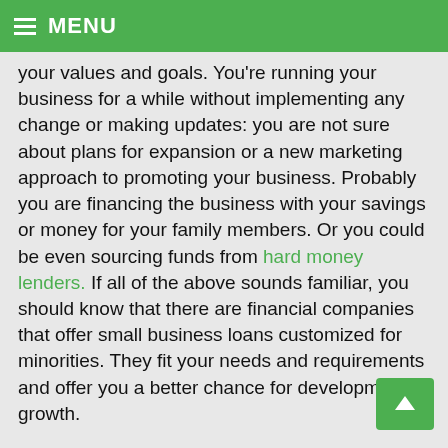≡ MENU
your values and goals. You're running your business for a while without implementing any change or making updates: you are not sure about plans for expansion or a new marketing approach to promoting your business. Probably you are financing the business with your savings or money for your family members. Or you could be even sourcing funds from hard money lenders. If all of the above sounds familiar, you should know that there are financial companies that offer small business loans customized for minorities. They fit your needs and requirements and offer you a better chance for development or growth.
Let's consider the case of Alejandro, the owner of a fast food restaurant who wants to open a new location in a more populated part of town. That way he'll improve his market share and his visibility. Can qualify for a loan? Certainly.
Raquel has a fitness center and things have been good for a while, but now, during the winter season, customers are coming